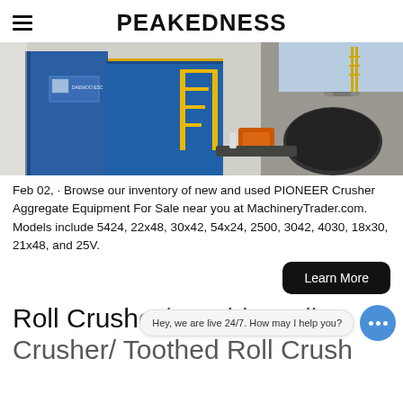PEAKEDNESS
[Figure (photo): Industrial machinery with blue metal structures, yellow staircases, and large cylindrical drums, labeled Daewoo ESC.]
Feb 02, · Browse our inventory of new and used PIONEER Crusher Aggregate Equipment For Sale near you at MachineryTrader.com. Models include 5424, 22x48, 30x42, 54x24, 2500, 3042, 4030, 18x30, 21x48, and 25V.
Learn More
Roll Crusher/ Double Roller Crusher/ Toothed Roll Crusher